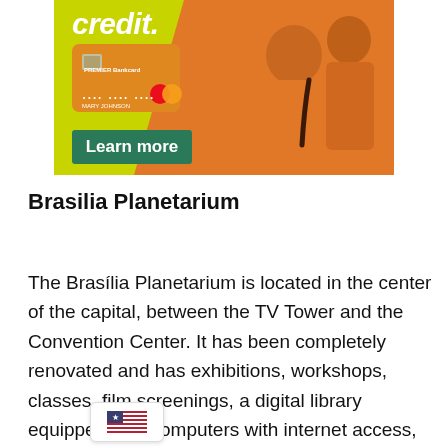[Figure (illustration): Advertisement banner showing two people in orange shirts with a Premier Bankcard credit card and a yellow-green background. Text reads 'credit.' at top and has a 'Learn more' teal button at bottom left.]
Brasilia Planetarium
The Brasília Planetarium is located in the center of the capital, between the TV Tower and the Convention Center. It has been completely renovated and has exhibitions, workshops, classes, film screenings, a digital library equipped with computers with internet access, and [cushio]ted furniture, such as inclined chairs,